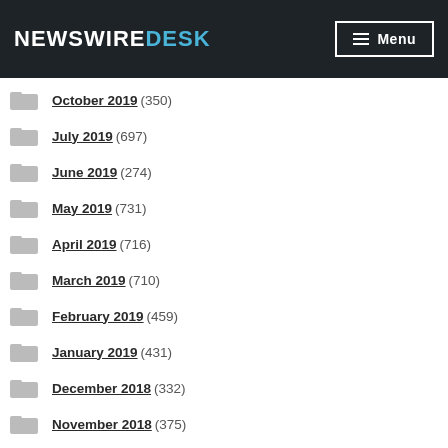NewswireDesk — Menu
October 2019 (350)
July 2019 (697)
June 2019 (274)
May 2019 (731)
April 2019 (716)
March 2019 (710)
February 2019 (459)
January 2019 (431)
December 2018 (332)
November 2018 (375)
October 2018 (468)